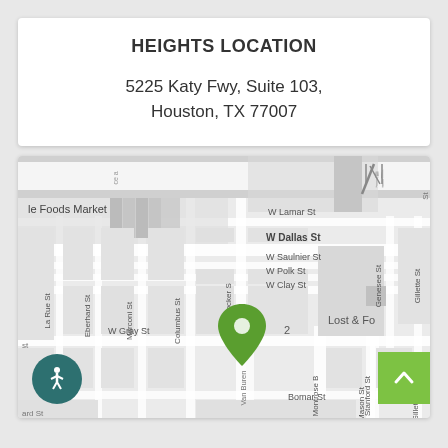HEIGHTS LOCATION
5225 Katy Fwy, Suite 103,
Houston, TX 77007
[Figure (map): Google Maps-style street map of Houston Heights area showing location pin at 5225 Katy Fwy near W Clay St and Crocker St. Nearby streets include W Dallas St, W Lamar St, W Saulnier St, W Polk St, W Gray St, Columbus St, Marconi St, Eberhard St, La Rue St, Van Buren St, Montrose Blvd, Stanford St, Bomar St, Mason St, Gillette St, Genesee St. Nearby landmarks include Bludorn restaurant and Whole Foods Market (partially visible as 'le Foods Market'). Green location pin marker visible. Accessibility icon and scroll-to-top button visible.]